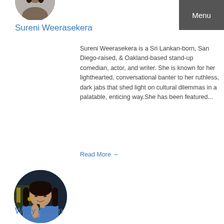[Figure (photo): Circular cropped profile photo of Sureni Weerasekera, partially visible at top of page]
Menu
Sureni Weerasekera
Sureni Weerasekera is a Sri Lankan-born, San Diego-raised, & Oakland-based stand-up comedian, actor, and writer. She is known for her lighthearted, conversational banter to her ruthless, dark jabs that shed light on cultural dilemmas in a palatable, enticing way.She has been featured...
Read More →
[Figure (photo): Circular profile photo of Wally Baram, a woman holding a microphone, wearing a blue shirt, against a dark background]
Wally Baram